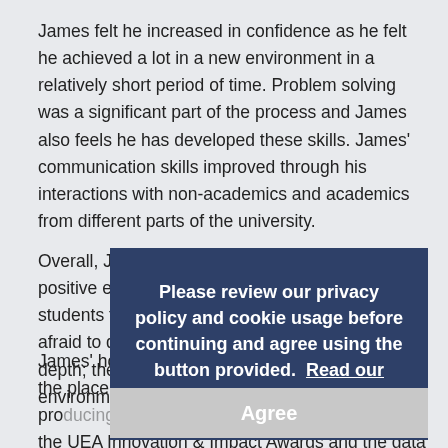James felt he increased in confidence as he felt he achieved a lot in a new environment in a relatively short period of time. Problem solving was a significant part of the process and James also feels he has developed these skills. James' communication skills improved through his interactions with non-academics and academics from different parts of the university.
Overall, James found the placement to be a very positive experience. He encourages future PIPS students to go in with an open-mind; "Don't be afraid to do something that sounds out of your depth; the university is a very supportive environment and support yo...
James' host, Joita Dey was also very happy with the placement; "James did an excellent job of producing the technology flyers, the entries for the UEA Innovation & Impact Awards and the data for the HEBCI's survey. Working in a new environment and in a...
[Figure (other): Cookie/privacy policy overlay dialog on top of article text, with dark navy blue background. Text reads: 'Please review our privacy policy and cookie usage before continuing and agree using the button provided. Read our policy now'. Below that is a grey 'Agree' button.]